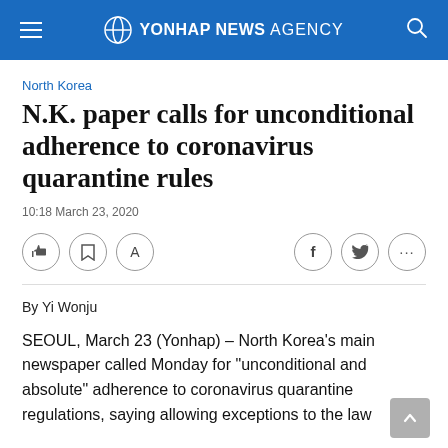Yonhap News Agency
North Korea
N.K. paper calls for unconditional adherence to coronavirus quarantine rules
10:18 March 23, 2020
By Yi Wonju
SEOUL, March 23 (Yonhap) – North Korea's main newspaper called Monday for "unconditional and absolute" adherence to coronavirus quarantine regulations, saying allowing exceptions to the law